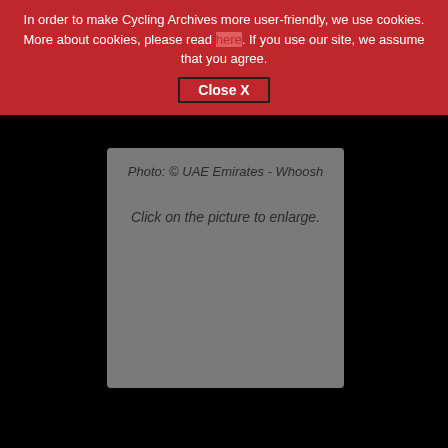In order to make Cycling Archives more user-friendly, we use cookies. More about cookies, please read here. If you use our site, we assume that you agree.
Close X
Photo: © UAE Emirates - Whoosh
Click on the picture to enlarge.